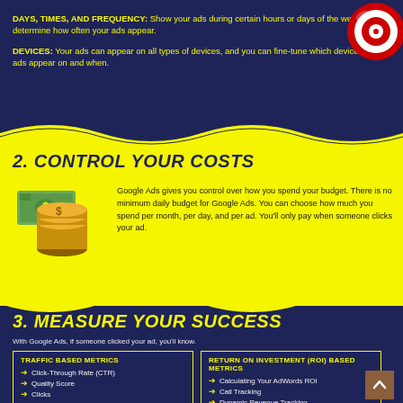DAYS, TIMES, AND FREQUENCY: Show your ads during certain hours or days of the week, and determine how often your ads appear.
DEVICES: Your ads can appear on all types of devices, and you can fine-tune which devices your ads appear on and when.
[Figure (illustration): Red and white target/bullseye icon]
2. CONTROL YOUR COSTS
[Figure (illustration): Stack of gold coins with dollar sign and green dollar bill illustration]
Google Ads gives you control over how you spend your budget. There is no minimum daily budget for Google Ads. You can choose how much you spend per month, per day, and per ad. You'll only pay when someone clicks your ad.
3. MEASURE YOUR SUCCESS
With Google Ads, if someone clicked your ad, you'll know.
There are multiple metrics that will help you determine the performance of your Google Ads but the bottom line is if your campaigns aren't delivering a positive ROI then it's time to make some changes to make them profitable.
Below are some common metrics that you must consider.
| TRAFFIC BASED METRICS | RETURN ON INVESTMENT (ROI) BASED METRICS |
| --- | --- |
| Click-Through Rate (CTR) | Calculating Your AdWords ROI |
| Quality Score | Call Tracking |
| Clicks | Dynamic Revenue Tracking |
|  | Customer Lead Tracking |